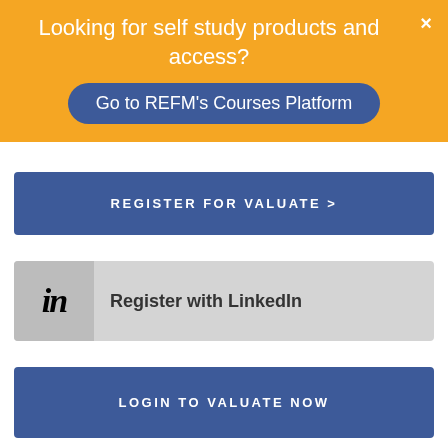Looking for self study products and access?
Go to REFM's Courses Platform
REGISTER FOR VALUATE >
[Figure (logo): LinkedIn 'in' logo icon followed by 'Register with LinkedIn' button]
LOGIN TO VALUATE NOW
Popular Blog Posts